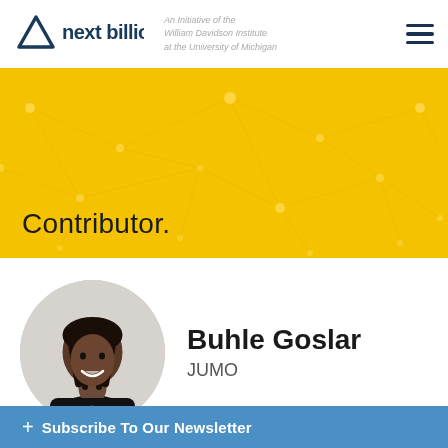next billion — An Initiative of the William Davidson Institute at the University of Michigan
[Figure (other): Yellow network/connectivity pattern banner background with text 'Contributor.']
Contributor.
[Figure (photo): Circular portrait photo of Buhle Goslar, a woman with braided hair, smiling, wearing a black top]
Buhle Goslar
JUMO
+ Subscribe To Our Newsletter